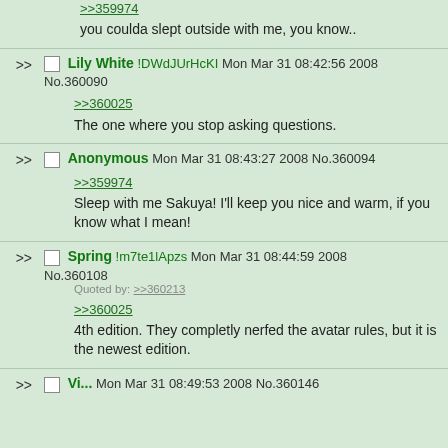>>359974
you coulda slept outside with me, you know..
Lily White !DWdJUrHcKI Mon Mar 31 08:42:56 2008 No.360090
>>360025
The one where you stop asking questions.
Anonymous Mon Mar 31 08:43:27 2008 No.360094
>>359974
Sleep with me Sakuya! I'll keep you nice and warm, if you know what I mean!
Spring !m7te1lApzs Mon Mar 31 08:44:59 2008 No.360108
Quoted by: >>360213
>>360025
4th edition. They completly nerfed the avatar rules, but it is the newest edition.
Mon Mar 31 08:49:53 2008 No.360146